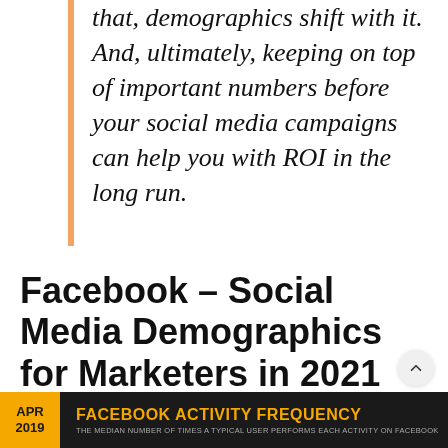that, demographics shift with it. And, ultimately, keeping on top of important numbers before your social media campaigns can help you with ROI in the long run.
Facebook – Social Media Demographics for Marketers in 2021
[Figure (infographic): Infographic header bar with dark background. Orange box on left shows 'APR 2019'. Gold text reads 'FACEBOOK ACTIVITY FREQUENCY' with subtitle 'THE MEDIAN NUMBER OF TIMES A TYPICAL USER PERFORMS EACH ACTIVITY ON FACEBOOK'.]